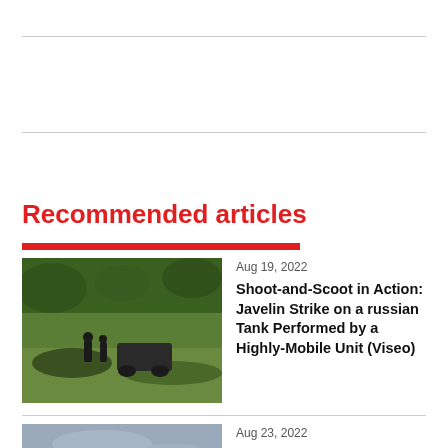Recommended articles
[Figure (photo): Military personnel with vehicle in a green field, outdoor scene]
Aug 19, 2022
Shoot-and-Scoot in Action: Javelin Strike on a russian Tank Performed by a Highly-Mobile Unit (Viseo)
[Figure (photo): Gray sky aerial scene, Russia MiG-31 aircraft]
Aug 23, 2022
Russia's MiG-31 Flee From the Occupied Crimea to